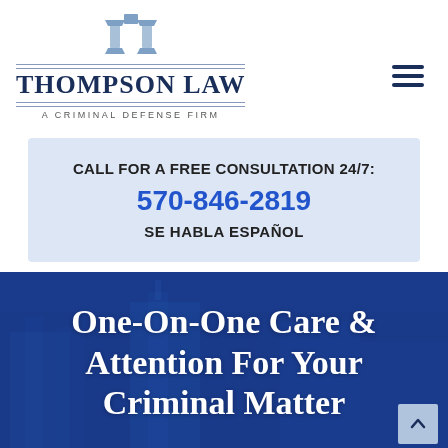[Figure (logo): Thompson Law – A Criminal Defense Firm logo with scales-of-justice icon and horizontal rules, plus hamburger menu icon]
CALL FOR A FREE CONSULTATION 24/7:
570-846-2819
SE HABLA ESPAÑOL
One-On-One Care & Attention For Your Criminal Matter